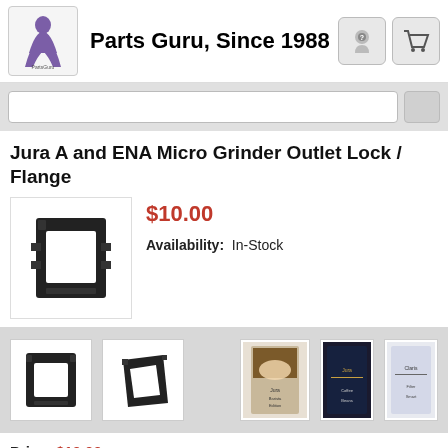Parts Guru, Since 1988
Jura A and ENA Micro Grinder Outlet Lock / Flange
[Figure (photo): Black plastic grinder outlet lock / flange part for Jura A and ENA Micro coffee machines]
$10.00
Availability: In-Stock
[Figure (photo): Thumbnail images of the product and related items including coffee products]
Price: $10.00
Availability: In-Stock
Qty: